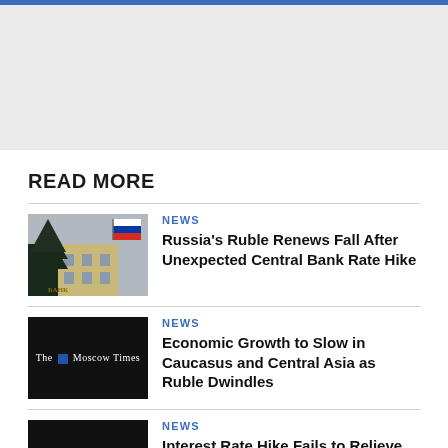[Figure (other): Gray banner area at top of page with blue top border line]
READ MORE
[Figure (photo): Photo of Russian Central Bank building with Russian flag and tree]
NEWS
Russia's Ruble Renews Fall After Unexpected Central Bank Rate Hike
[Figure (logo): The Moscow Times logo on black background]
NEWS
Economic Growth to Slow in Caucasus and Central Asia as Ruble Dwindles
[Figure (logo): The Moscow Times logo on black background]
NEWS
Interest Rate Hike Fails to Relieve Pressure on Russia's Ruble